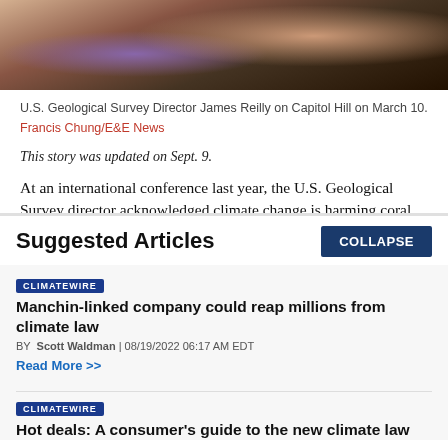[Figure (photo): Close-up photo of a man in a suit and striped tie, partially visible, likely in a government hearing room.]
U.S. Geological Survey Director James Reilly on Capitol Hill on March 10. Francis Chung/E&E News
This story was updated on Sept. 9.
At an international conference last year, the U.S. Geological Survey director acknowledged climate change is harming coral reefs but focused his presentation on a
Suggested Articles
COLLAPSE
CLIMATEWIRE
Manchin-linked company could reap millions from climate law
BY Scott Waldman | 08/19/2022 06:17 AM EDT
Read More >>
CLIMATEWIRE
Hot deals: A consumer's guide to the new climate law